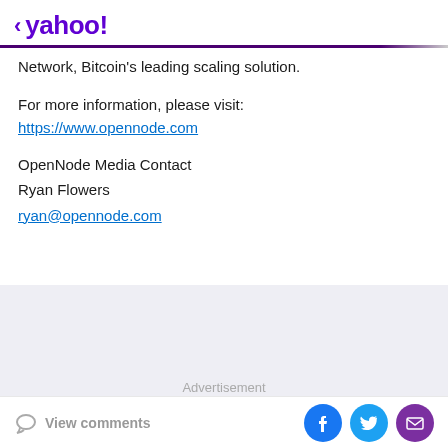< yahoo!
Network, Bitcoin's leading scaling solution.
For more information, please visit:
https://www.opennode.com
OpenNode Media Contact
Ryan Flowers
ryan@opennode.com
Advertisement
View comments